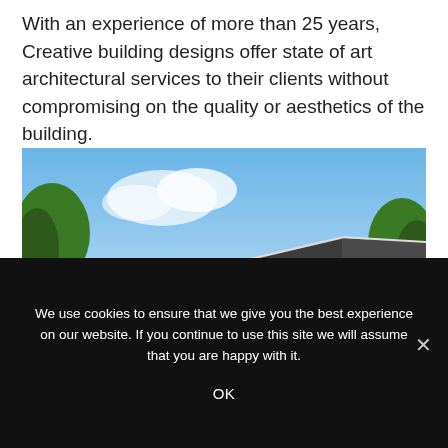With an experience of more than 25 years, Creative building designs offer state of art architectural services to their clients without compromising on the quality or aesthetics of the building.
[Figure (photo): Exterior architectural rendering of a modern residential building with a dark grey pitched roof, dark wood/composite cladding on upper floors, brick and flint lower facade, white-framed windows, surrounded by trees under a blue sky.]
We use cookies to ensure that we give you the best experience on our website. If you continue to use this site we will assume that you are happy with it.
OK